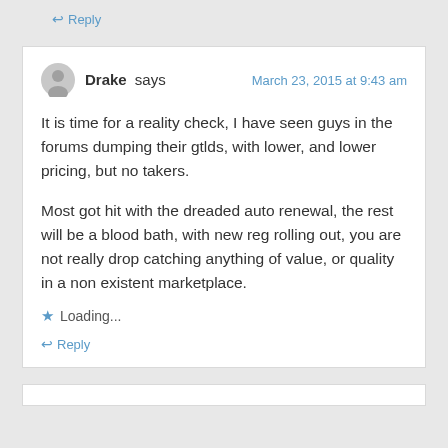↩ Reply
Drake says — March 23, 2015 at 9:43 am
It is time for a reality check, I have seen guys in the forums dumping their gtlds, with lower, and lower pricing, but no takers.

Most got hit with the dreaded auto renewal, the rest will be a blood bath, with new reg rolling out, you are not really drop catching anything of value, or quality in a non existent marketplace.
★ Loading...
↩ Reply